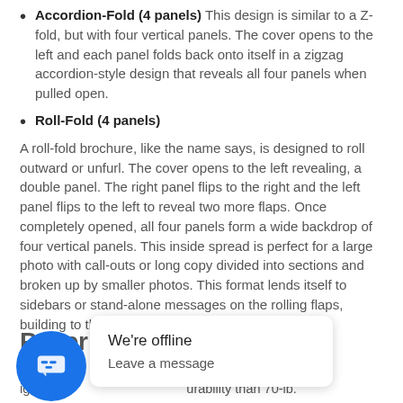Accordion-Fold (4 panels) This design is similar to a Z-fold, but with four vertical panels. The cover opens to the left and each panel folds back onto itself in a zigzag accordion-style design that reveals all four panels when pulled open.
Roll-Fold (4 panels)
A roll-fold brochure, like the name says, is designed to roll outward or unfurl. The cover opens to the left revealing, a double panel. The right panel flips to the right and the left panel flips to the left to reveal two more flaps. Once completely opened, all four panels form a wide backdrop of four vertical panels. This inside spread is perfect for a large photo with call-outs or long copy divided into sections and broken up by smaller photos. This format lends itself to sidebars or stand-alone messages on the rolling flaps, building to the big story inside.
Paper Stocks
...fe... The 80-lb. stock is lighter ...urability than 70-lb.